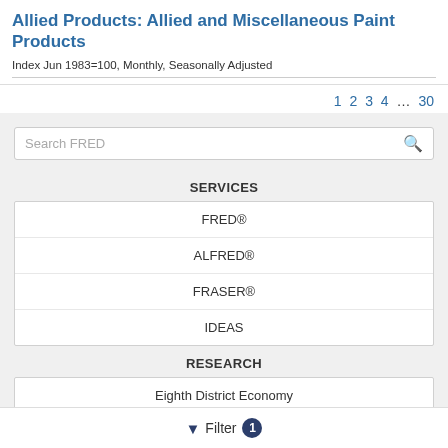Allied Products: Allied and Miscellaneous Paint Products
Index Jun 1983=100, Monthly, Seasonally Adjusted
1  2  3  4  ...  30
[Figure (screenshot): FRED website navigation overlay showing a search box labeled 'Search FRED' with a magnifying glass icon, followed by a SERVICES section with links: FRED®, ALFRED®, FRASER®, IDEAS; and a RESEARCH section with links: Eighth District Economy, Working Papers]
Filter 1